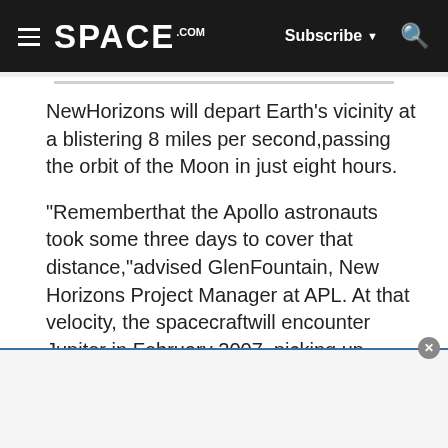SPACE.com | Subscribe | Search
NewHorizons will depart Earth's vicinity at a blistering 8 miles per second,passing the orbit of the Moon in just eight hours.
"Rememberthat the Apollo astronauts took some three days to cover that distance,"advised GlenFountain, New Horizons Project Manager at APL. At that velocity, the spacecraftwill encounter Jupiter in February 2007, picking up added speed as it zips bythe massive planet.
[Figure (other): Advertisement banner area with close button]